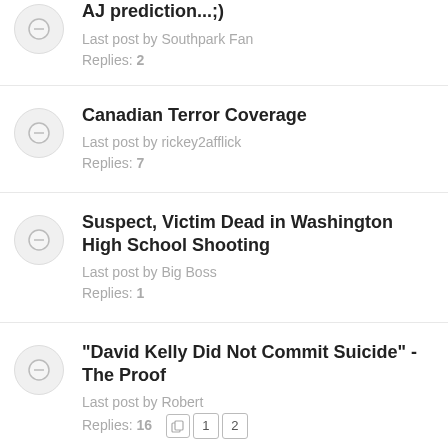AJ prediction...;)
Last post by Southpark Fan
Replies: 2
Canadian Terror Coverage
Last post by rickey2afflick
Replies: 7
Suspect, Victim Dead in Washington High School Shooting
Last post by Big Boss
Replies: 1
"David Kelly Did Not Commit Suicide" - The Proof
Last post by Robert
Replies: 16
John McAfee reveals details on gadget